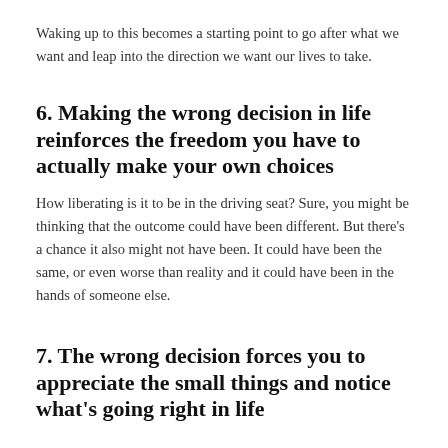Waking up to this becomes a starting point to go after what we want and leap into the direction we want our lives to take.
6. Making the wrong decision in life reinforces the freedom you have to actually make your own choices
How liberating is it to be in the driving seat? Sure, you might be thinking that the outcome could have been different. But there's a chance it also might not have been. It could have been the same, or even worse than reality and it could have been in the hands of someone else.
7. The wrong decision forces you to appreciate the small things and notice what's going right in life